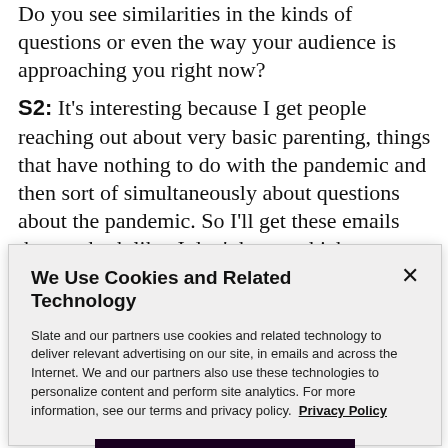Do you see similarities in the kinds of questions or even the way your audience is approaching you right now?
S2: It's interesting because I get people reaching out about very basic parenting, things that have nothing to do with the pandemic and then sort of simultaneously about questions about the pandemic. So I'll get these emails that are both like, I don't know which way my baby should sleep and they won't sleep on their back.
We Use Cookies and Related Technology
Slate and our partners use cookies and related technology to deliver relevant advertising on our site, in emails and across the Internet. We and our partners also use these technologies to personalize content and perform site analytics. For more information, see our terms and privacy policy. Privacy Policy
OK